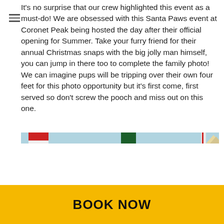It's no surprise that our crew highlighted this event as a must-do! We are obsessed with this Santa Paws event at Coronet Peak being hosted the day after their official opening for Summer. Take your furry friend for their annual Christmas snaps with the big jolly man himself, you can jump in there too to complete the family photo! We can imagine pups will be tripping over their own four feet for this photo opportunity but it's first come, first served so don't screw the pooch and miss out on this one.
[Figure (photo): Partial image strip showing a Santa Paws event scene with Christmas-themed imagery in blue and red tones]
BOOK NOW